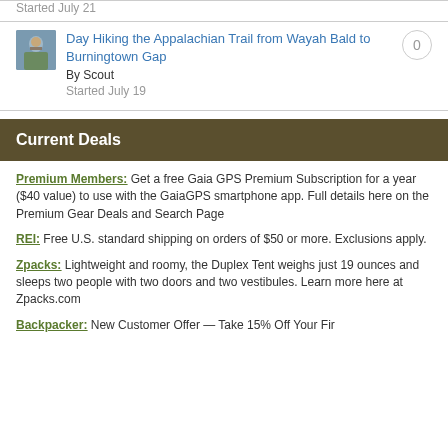Started July 21
[Figure (photo): Small thumbnail image of a hiker or trail scene]
Day Hiking the Appalachian Trail from Wayah Bald to Burningtown Gap
By Scout
Started July 19
Current Deals
Premium Members: Get a free Gaia GPS Premium Subscription for a year ($40 value) to use with the GaiaGPS smartphone app. Full details here on the Premium Gear Deals and Search Page
REI: Free U.S. standard shipping on orders of $50 or more. Exclusions apply.
Zpacks: Lightweight and roomy, the Duplex Tent weighs just 19 ounces and sleeps two people with two doors and two vestibules. Learn more here at Zpacks.com
Backpacker: New Customer Offer — Take 15% Off Your First...